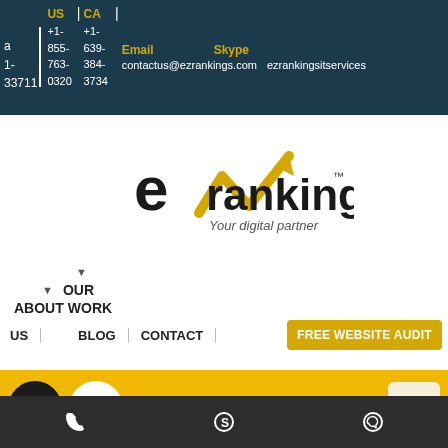US | CA | +1- | +1- | 855- | 639- | 763- | 384- | 33711 | 0320 | 3734 | Email: contactus@ezrankings.com | Skype: ezrankingsitservices
[Figure (logo): eV rankings logo with yellow checkmark/arrow and text 'eV rankings TM Your digital partner']
▼ OUR ABOUTWORK US | BLOG | CONTACT | FREE WEBSITE AUDIT
[Figure (infographic): Mobile navigation bar with eV logo, phone icon, US flag, India flag, Canada flag, and hamburger menu on yellow background]
Home > Blog
> Google Search Operators: What Are They And
Phone | Skype | WhatsApp icons